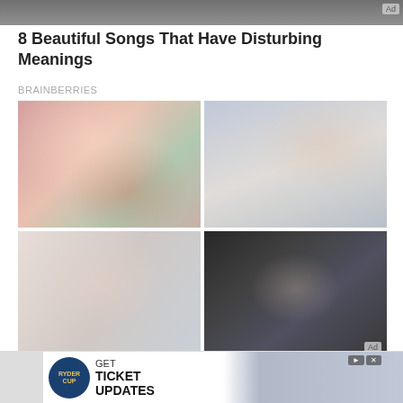[Figure (photo): Partial image of people at top of page, with Ad badge]
8 Beautiful Songs That Have Disturbing Meanings
BRAINBERRIES
[Figure (photo): 2x2 grid of photos: woman covering eyes, man with hand on chin, woman hugging, man in suit with surprised expression. Ad badge on bottom right.]
Memes As A Weapon - The Most Touching Ukrainian War Memes
[Figure (photo): Bottom advertisement for Ryder Cup: GET TICKET UPDATES with logo and golfer images]